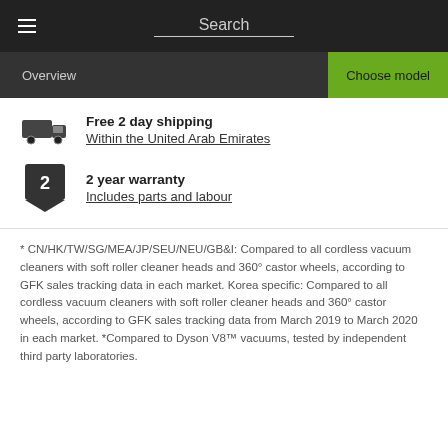Search
Overview | Choose model
Free 2 day shipping
Within the United Arab Emirates
2 year warranty
Includes parts and labour
* CN/HK/TW/SG/MEA/JP/SEU/NEU/GB&I: Compared to all cordless vacuum cleaners with soft roller cleaner heads and 360° castor wheels, according to GFK sales tracking data in each market. Korea specific: Compared to all cordless vacuum cleaners with soft roller cleaner heads and 360° castor wheels, according to GFK sales tracking data from March 2019 to March 2020 in each market. *Compared to Dyson V8™ vacuums, tested by independent third party laboratories.